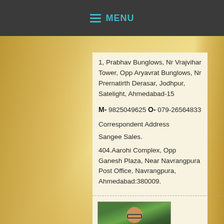MENU
1, Prabhav Bunglows, Nr Vrajvihar Tower, Opp Aryavrat Bunglows, Nr Prernatirth Derasar, Jodhpur, Satelight, Ahmedabad-15
M- 9825049625 O- 079-26564833
Correspondent Address
Sangee Sales.
404.Aarohi Complex, Opp Ganesh Plaza, Near Navrangpura Post Office, Navrangpura, Ahmedabad:380009.
[Figure (photo): Portrait photo of an elderly man wearing glasses, outdoors with green foliage background]